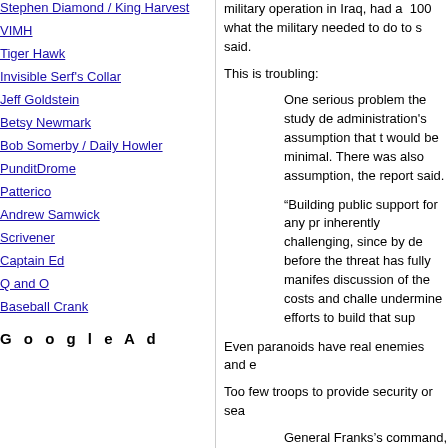Stephen Diamond / King Harvest
VIMH
Tiger Hawk
Invisible Serf's Collar
Jeff Goldstein
Betsy Newmark
Bob Somerby / Daily Howler
PunditDrome
Patterico
Andrew Samwick
Scrivener
Captain Ed
Q and O
Baseball Crank
G o o g l e  A d
military operation in Iraq, had a  100 what the military needed to do to s said.
This is troubling:
One serious problem the study de administration's assumption that t would be minimal. There was also assumption, the report said.
“Building public support for any pr inherently challenging, since by de before the threat has fully manifes discussion of the costs and challe undermine efforts to build that sup
Even paranoids have real enemies and e
Too few troops to provide security or sea
General Franks’s command, the s Iraq’s police and civil bureaucracy fallback option in case that expec Baghdad fell, the study said, Ame mechanized or armored forces, w